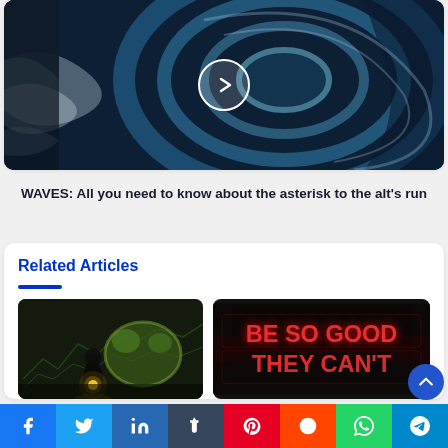[Figure (photo): Aerial view of a hurricane/large wave with a play button overlay (white circle with chevron right)]
WAVES: All you need to know about the asterisk to the alt's run
Related Articles
[Figure (photo): Dark dramatic image of a hooded figure with a glowing bear figure in background, financial chart overlay]
[Figure (photo): Dark background with neon red text reading: BE SO GOOD THEY CAN'T]